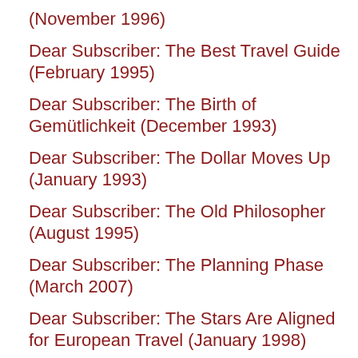(November 1996)
Dear Subscriber: The Best Travel Guide (February 1995)
Dear Subscriber: The Birth of Gemütlichkeit (December 1993)
Dear Subscriber: The Dollar Moves Up (January 1993)
Dear Subscriber: The Old Philosopher (August 1995)
Dear Subscriber: The Planning Phase (March 2007)
Dear Subscriber: The Stars Are Aligned for European Travel (January 1998)
Dear Subscriber: The World's Best Beer (October 1994)
Dear Subscriber: To Europe Via Freighter (July 1995)